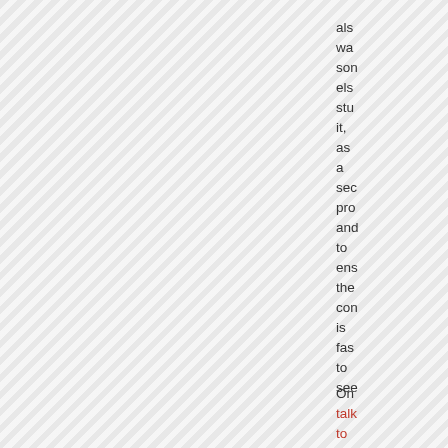also was some else stu it, as a sec pro and to ens the con is fas to see
On talk to dee to